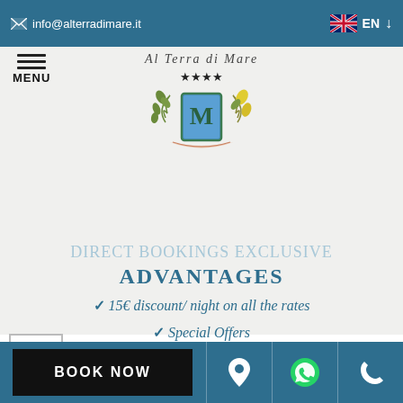info@alterradimare.it  EN
[Figure (logo): Hotel logo with cursive text 'Al Terra di Mare', four stars, decorative crest with olive and lemon branches, letter M in blue shield]
MENU
DIRECT BOOKINGS EXCLUSIVE ADVANTAGES
15€ discount/ night on all the rates
Special Offers
Direct Booking with the Hotel
BOOK NOW